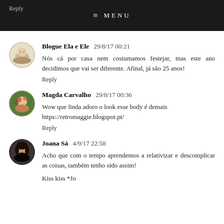Reply
≡ MENU
Blogue Ela e Ele  29/8/17 00:21
Nós cá por casa nem costumamos festejar, mas este ano decidimos que vai ser diferente. Afinal, já são 25 anos!
Reply
Magda Carvalho  29/8/17 00:36
Wow que linda adoro o look esse body é demais
https://retromaggie.blogspot.pt/
Reply
Joana Sá  4/9/17 22:58
Acho que com o tempo aprendemos a relativizar e descomplicar as coisas, também tenho sido assim!
Kiss kiss *Jo